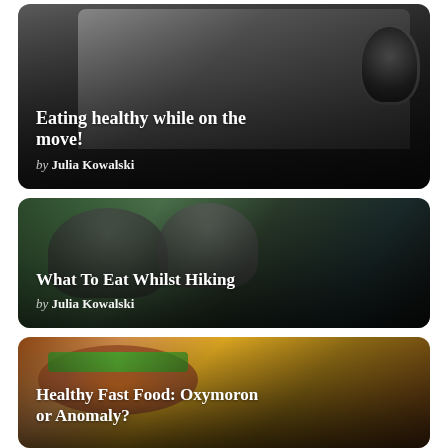[Figure (photo): Car interior showing gear shift and center console, dark tones]
Eating healthy while on the move!
by Julia Kowalski
[Figure (photo): Two people eating food outdoors in a forest/hiking setting]
What To Eat Whilst Hiking
Julia Kowalski
[Figure (photo): Close-up of colorful fast food burger/sandwich with vegetables]
Healthy Fast Food: Oxymoron or Anomaly?